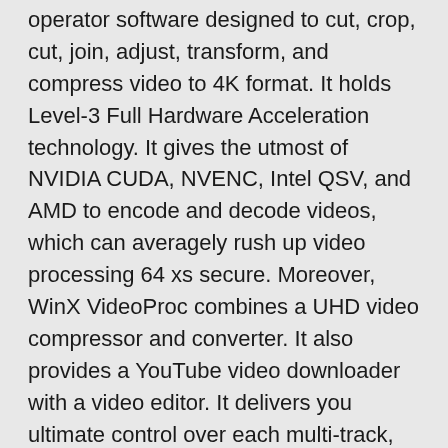operator software designed to cut, crop, cut, join, adjust, transform, and compress video to 4K format. It holds Level-3 Full Hardware Acceleration technology. It gives the utmost of NVIDIA CUDA, NVENC, Intel QSV, and AMD to encode and decode videos, which can averagely rush up video processing 64 xs secure. Moreover, WinX VideoProc combines a UHD video compressor and converter. It also provides a YouTube video downloader with a video editor. It delivers you ultimate control over each multi-track, HD, SD, and 4K video format on your PC.
VideoProc Keygen is very effective at editing big videos from your GoPro, DJI, 4K cameras for denoising, securing, cutting, separating, bursting, joining, and subtitling. In resemblance, it's a video compressor and converter that helps transcode HEVC or H.264 videos, regenerate any videos, audios, and